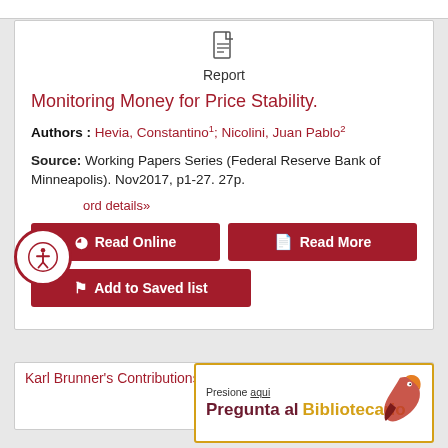Report
Monitoring Money for Price Stability.
Authors : Hevia, Constantino1; Nicolini, Juan Pablo2
Source: Working Papers Series (Federal Reserve Bank of Minneapolis). Nov2017, p1-27. 27p.
ord details»
Read Online
Read More
Add to Saved list
Karl Brunner's Contributions to the Theory of
[Figure (infographic): Pregunta al Bibliotecario popup banner with bird logo, border in gold/amber color. Top text: Presione aqui. Main text: Pregunta al Bibliotecario in dark red and gold.]